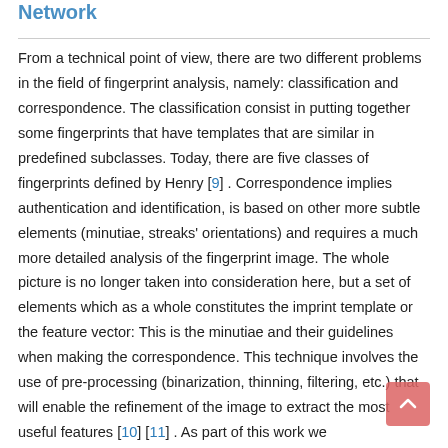Network
From a technical point of view, there are two different problems in the field of fingerprint analysis, namely: classification and correspondence. The classification consist in putting together some fingerprints that have templates that are similar in predefined subclasses. Today, there are five classes of fingerprints defined by Henry [9] . Correspondence implies authentication and identification, is based on other more subtle elements (minutiae, streaks' orientations) and requires a much more detailed analysis of the fingerprint image. The whole picture is no longer taken into consideration here, but a set of elements which as a whole constitutes the imprint template or the feature vector: This is the minutiae and their guidelines when making the correspondence. This technique involves the use of pre-processing (binarization, thinning, filtering, etc.) that will enable the refinement of the image to extract the most useful features [10] [11] . As part of this work we